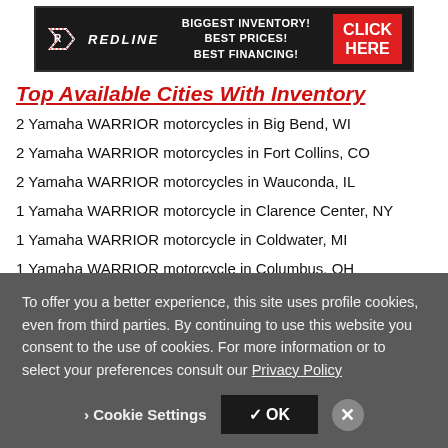[Figure (other): Redline advertisement banner: logo on left, text 'BIGGEST INVENTORY! BEST PRICES! BEST FINANCING!' in center, red 'CLICK HERE' button on right, all on dark background]
Top Available Cities With Inventory
2 Yamaha WARRIOR motorcycles in Big Bend, WI
2 Yamaha WARRIOR motorcycles in Fort Collins, CO
2 Yamaha WARRIOR motorcycles in Wauconda, IL
1 Yamaha WARRIOR motorcycle in Clarence Center, NY
1 Yamaha WARRIOR motorcycle in Coldwater, MI
1 Yamaha WARRIOR motorcycle in Columbus, OH
1 Yamaha WARRIOR motorcycle in Conroe, TX
To offer you a better experience, this site uses profile cookies, even from third parties. By continuing to use this website you consent to the use of cookies. For more information or to select your preferences consult our Privacy Policy